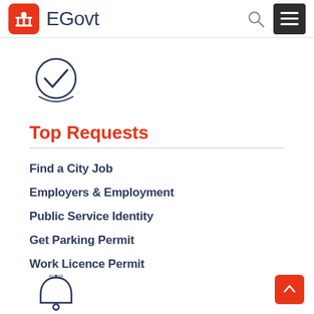EGovt
[Figure (illustration): Checkmark inside a circle icon, dark navy/blue outline style]
Top Requests
Find a City Job
Employers & Employment
Public Service Identity
Get Parking Permit
Work Licence Permit
[Figure (illustration): Bell/notification icon, dark navy outline style, partially visible at bottom]